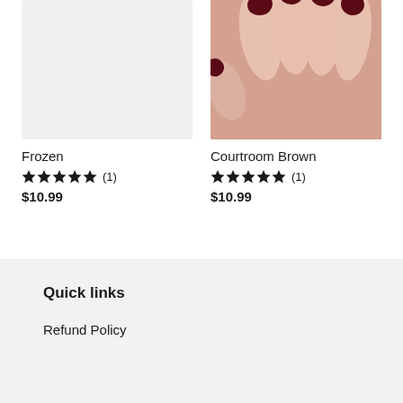[Figure (photo): Product card for 'Frozen' nail polish — light gray/white placeholder product image]
Frozen
★★★★★ (1)
$10.99
[Figure (photo): Product card for 'Courtroom Brown' nail polish — close-up photo of a hand with dark burgundy/brown nail polish on manicured nails]
Courtroom Brown
★★★★★ (1)
$10.99
Quick links
Refund Policy